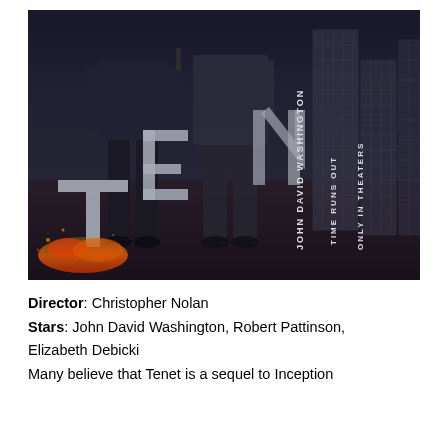[Figure (photo): Movie poster for Tenet showing two suited figures walking with guns, large metallic TENET letters, vertical text reading JOHN DAVID WASHINGTON, TIME RUNS OUT, ONLY IN THEATERS on right side with building/city backdrop and fire sparks on ground]
Director: Christopher Nolan
Stars: John David Washington, Robert Pattinson, Elizabeth Debicki
Many believe that Tenet is a sequel to Inception